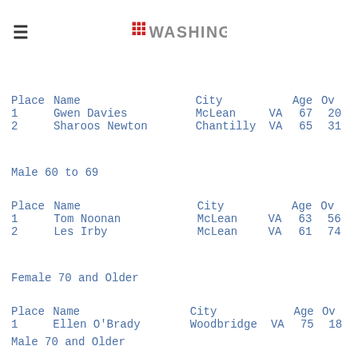≡ WASHINGTON
| Place | Name | City |  | Age | Ov |
| --- | --- | --- | --- | --- | --- |
| 1 | Gwen Davies | McLean | VA | 67 | 20 |
| 2 | Sharoos Newton | Chantilly | VA | 65 | 31 |
Male 60 to 69
| Place | Name | City |  | Age | Ov |
| --- | --- | --- | --- | --- | --- |
| 1 | Tom Noonan | McLean | VA | 63 | 56 |
| 2 | Les Irby | McLean | VA | 61 | 74 |
Female 70 and Older
| Place | Name | City |  | Age | Ov |
| --- | --- | --- | --- | --- | --- |
| 1 | Ellen O'Brady | Woodbridge | VA | 75 | 18 |
Male 70 and Older
| Place | Name | City |  | Age | Ov |
| --- | --- | --- | --- | --- | --- |